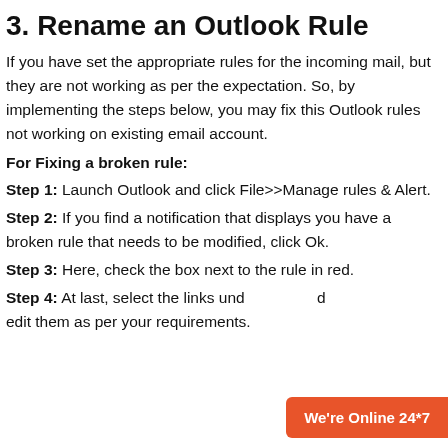3. Rename an Outlook Rule
If you have set the appropriate rules for the incoming mail, but they are not working as per the expectation. So, by implementing the steps below, you may fix this Outlook rules not working on existing email account.
For Fixing a broken rule:
Step 1: Launch Outlook and click File>>Manage rules & Alert.
Step 2: If you find a notification that displays you have a broken rule that needs to be modified, click Ok.
Step 3: Here, check the box next to the rule in red.
Step 4: At last, select the links und... d edit them as per your requirements.